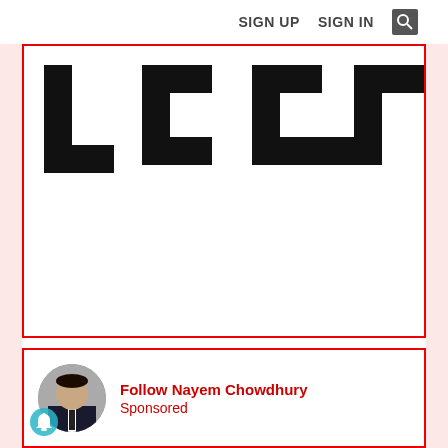SIGN UP  SIGN IN  [search icon]
[Figure (logo): Large black L-shaped letter forms spelling 'LCCL' logo mark]
Follow status updates from Leelija Web S
Become a follower!
Follow
[Figure (photo): Profile photo of Nayem Chowdhury, a man in a suit]
Follow Nayem Chowdhury
Sponsored